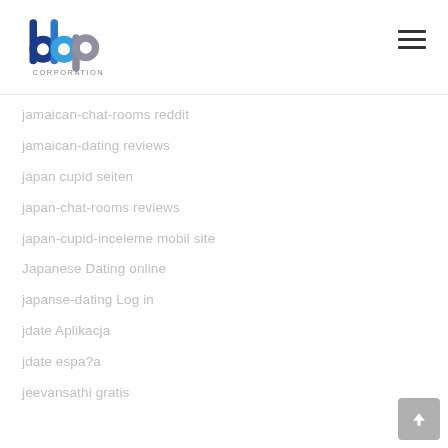bbp CORPORATION
jamaican-chat-rooms reddit
jamaican-dating reviews
japan cupid seiten
japan-chat-rooms reviews
japan-cupid-inceleme mobil site
Japanese Dating online
japanse-dating Log in
jdate Aplikacja
jdate espa?a
jeevansathi gratis